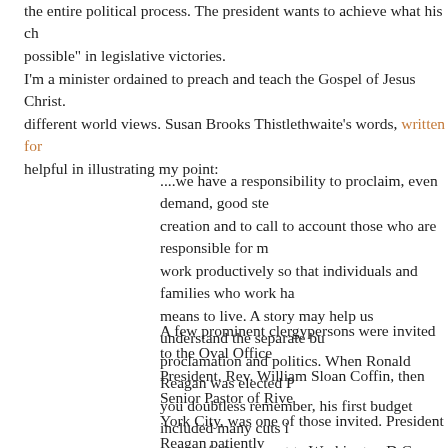the entire political process. The president wants to achieve what his ch possible" in legislative victories.
I'm a minister ordained to preach and teach the Gospel of Jesus Christ. different world views. Susan Brooks Thistlethwaite's words, written for helpful in illustrating my point:
....we have a responsibility to proclaim, even demand, good ste creation and to call to account those who are responsible for m work productively so that individuals and families who work ha means to live. A story may help us understand the separate bu proclamation and politics. When Ronald Reagan was elected P you doubtless remember, his first budget included many cuts i group of clergy went to Washington D.C., myself among them, Congressional representatives that these social programs hel poverty and that it was wrong to engage in these wholesale cu
A few prominent clergypersons were invited to the Oval Office President. Rev. William Sloan Coffin, then Senior Pastor of Rive York City, was one of those invited. President Reagan patiently visiting pastors why these cuts were necessary, in his view, to Rev. Coffin replied, "Mr. President, it is up to us to proclaim that like waters and righteousness like an everflowing stream. You